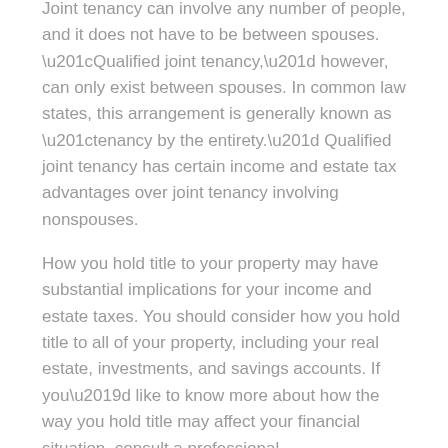Joint tenancy can involve any number of people, and it does not have to be between spouses. “Qualified joint tenancy,” however, can only exist between spouses. In common law states, this arrangement is generally known as “tenancy by the entirety.” Qualified joint tenancy has certain income and estate tax advantages over joint tenancy involving nonspouses.
How you hold title to your property may have substantial implications for your income and estate taxes. You should consider how you hold title to all of your property, including your real estate, investments, and savings accounts. If you’d like to know more about how the way you hold title may affect your financial situation, consult a professional.
Contracts
The fifth and final way to pass your property interests is through beneficiary designations.